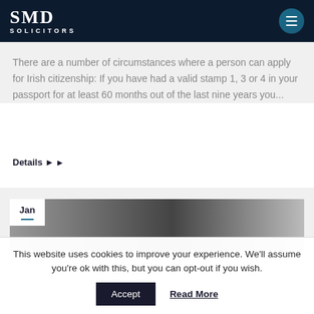SMD SOLICITORS
There are a number of circumstances where a person can apply for Irish citizenship: If you have had a valid stamp 1, 3 or 4 in your passport for at least 60 months out of the last nine years you...
Details ▶
[Figure (photo): Photo of office or legal setting with a date badge showing Jan]
This website uses cookies to improve your experience. We'll assume you're ok with this, but you can opt-out if you wish. Accept Read More